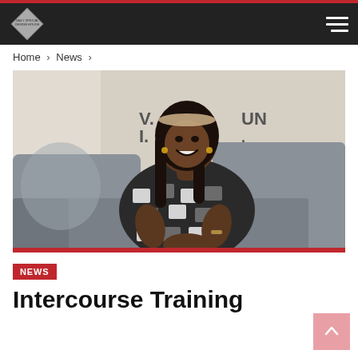Daily Special Design House — navigation header with logo and hamburger menu
Home > News >
[Figure (photo): A smiling woman wearing a black-and-white patterned dress with a headband, seated on a grey sofa. On the wall behind her are decorative letters 'V.I.' and 'UN.']
NEWS
Intercourse Training